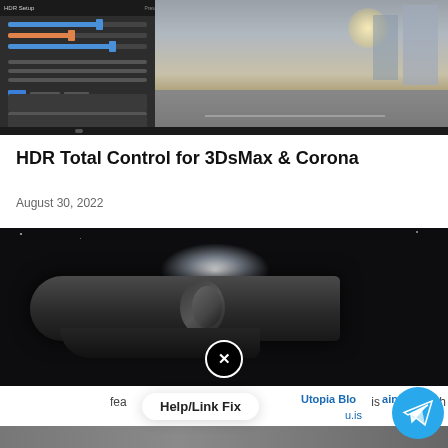[Figure (screenshot): Screenshot showing HDR Total Control software interface on left (dark panel with sliders) and a 3D rendered street scene on the right, with additional UI visible on far right edge.]
HDR Total Control for 3DsMax & Corona
August 30, 2022
[Figure (screenshot): Dark sci-fi spacecraft/spaceship rendered image with dramatic lighting and a close/dismiss button overlay in the center-bottom.]
Utopia Blockchain
fea
Help/Link Fix
is
with
u.is
[Figure (screenshot): Partial bottom image strip showing another 3D render preview.]